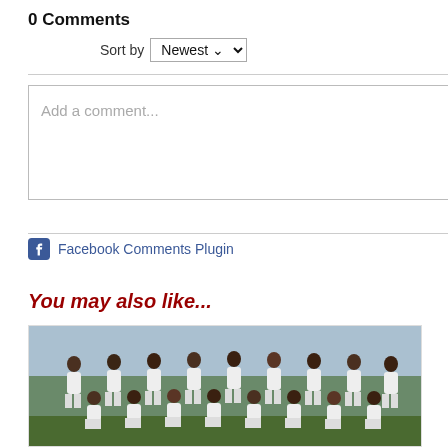0 Comments
Sort by Newest
Add a comment...
Facebook Comments Plugin
You may also like...
[Figure (photo): Group photo of a soccer/football team in white uniforms posing on a green pitch, with both standing and kneeling rows of players.]